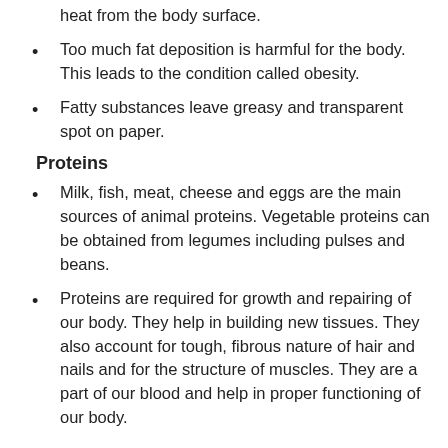heat from the body surface.
Too much fat deposition is harmful for the body. This leads to the condition called obesity.
Fatty substances leave greasy and transparent spot on paper.
Proteins
Milk, fish, meat, cheese and eggs are the main sources of animal proteins. Vegetable proteins can be obtained from legumes including pulses and beans.
Proteins are required for growth and repairing of our body. They help in building new tissues. They also account for tough, fibrous nature of hair and nails and for the structure of muscles. They are a part of our blood and help in proper functioning of our body.